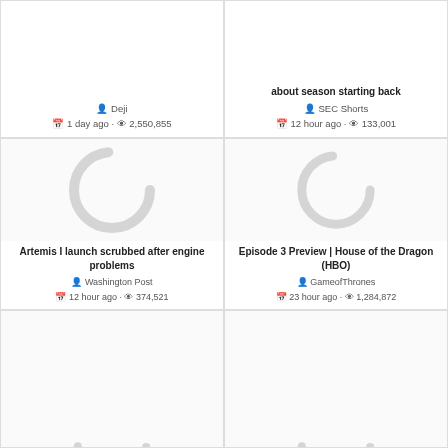[Figure (screenshot): Top-left card partial: channel Deji, 1 day ago, 2,550,855 views]
[Figure (screenshot): Top-right card partial: about season starting back, channel SEC Shorts, 12 hour ago, 133,001 views]
[Figure (screenshot): Middle-left card: loading spinner thumbnail, title Artemis I launch scrubbed after engine problems, channel Washington Post, 12 hour ago, 374,521 views]
[Figure (screenshot): Middle-right card: loading spinner thumbnail, title Episode 3 Preview | House of the Dragon (HBO), channel GameofThrones, 23 hour ago, 1,284,872 views]
[Figure (screenshot): Bottom-left card partial: loading spinner thumbnail, partially visible]
[Figure (screenshot): Bottom-right card partial: loading spinner thumbnail, partially visible]